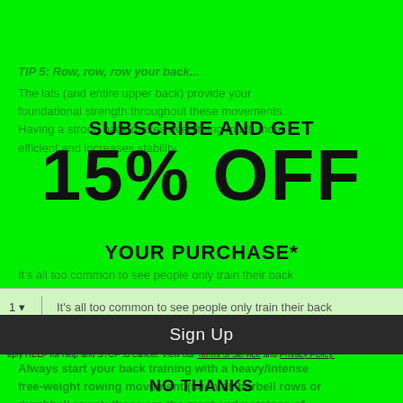TIP 5: Row, row, row your back... The lats (and entire upper back) provide your foundational strength throughout these movements. Having a strong back makes everything much more efficient and increases stability.
SUBSCRIBE AND GET
15% OFF
YOUR PURCHASE*
1  It's all too common to see people only train their back with vertical pulling movements (like lat pulldowns).
to receive recurring automated marketing text messages (e.g. cart reminders) at the phone number provided. Consent is not a condition to purchase. Msg & data rates may apply. Msg frequency varies. Reply HELP for help and STOP to cancel. View our Terms of Service and Privacy Policy.
Always start your back training with a heavy/intense free-weight rowing movement (such as barbell rows or dumbbell rows); these are the meat and potatoes of building a dense, massive back.
Sign Up
NO THANKS